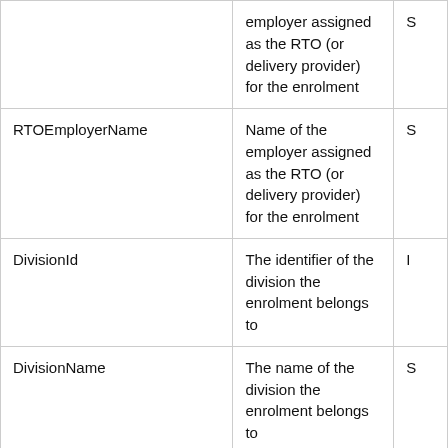| Field | Description |  |
| --- | --- | --- |
|  | employer assigned as the RTO (or delivery provider) for the enrolment | S |
| RTOEmployerName | Name of the employer assigned as the RTO (or delivery provider) for the enrolment | S |
| DivisionId | The identifier of the division the enrolment belongs to | I |
| DivisionName | The name of the division the enrolment belongs to | S |
| DivisionCode | The code of the division the enrolment | S |